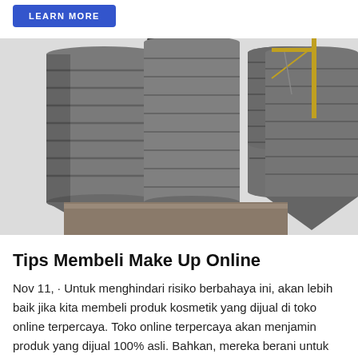[Figure (other): Blue 'LEARN MORE' button with white bold text on a rounded rectangle blue background]
[Figure (photo): Industrial cement silos / storage towers with metal scaffolding and a crane in the background against a light sky]
Tips Membeli Make Up Online
Nov 11,  · Untuk menghindari risiko berbahaya ini, akan lebih baik jika kita membeli produk kosmetik yang dijual di toko online terpercaya. Toko online terpercaya akan menjamin produk yang dijual 100% asli. Bahkan, mereka berani untuk mengganti uang kita 100%. Salah satu toko